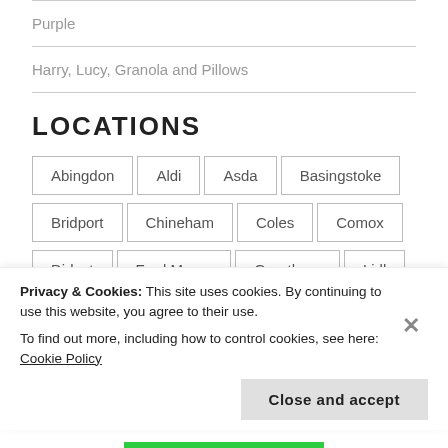Purple
Harry, Lucy, Granola and Pillows
LOCATIONS
Abingdon
Aldi
Asda
Basingstoke
Bridport
Chineham
Coles
Comox
Didcot
Fred Meyer
Grantham
Lidl
Privacy & Cookies: This site uses cookies. By continuing to use this website, you agree to their use. To find out more, including how to control cookies, see here: Cookie Policy
Close and accept